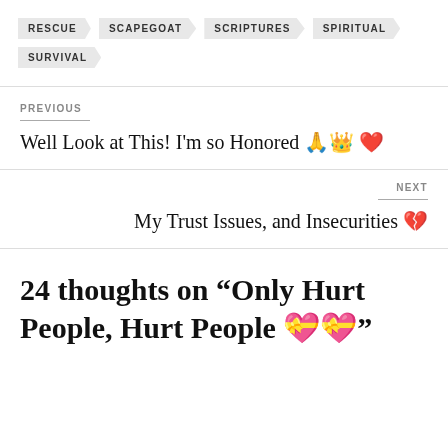RESCUE
SCAPEGOAT
SCRIPTURES
SPIRITUAL
SURVIVAL
PREVIOUS
Well Look at This! I'm so Honored 🙏👑 ❤️
NEXT
My Trust Issues, and Insecurities 💔
24 thoughts on “Only Hurt People, Hurt People 💝💝”